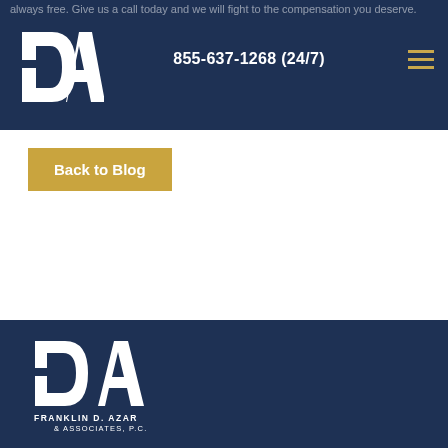always free. Give us a call today and we will fight to the compensation you deserve.
[Figure (logo): Franklin D. Azar & Associates PC logo - FDA monogram in white on dark navy background]
855-637-1268 (24/7)
Back to Blog
[Figure (logo): Franklin D. Azar & Associates PC large white logo on navy footer background with text FRANKLIN D. AZAR & ASSOCIATES, P.C.]